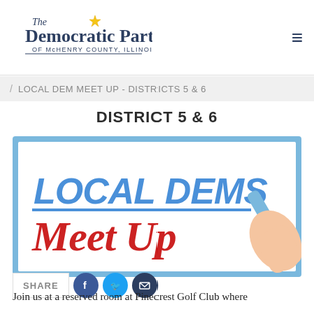The Democratic Party of McHenry County, Illinois
LOCAL DEM MEET UP - DISTRICTS 5 & 6
DISTRICT 5 & 6
[Figure (illustration): Event flyer image with text 'LOCAL DEMS Meet Up' in blue and red cursive/block lettering on white background with light blue border, and a hand holding a marker pen in the corner.]
Join us at a reserved room at Pinecrest Golf Club where